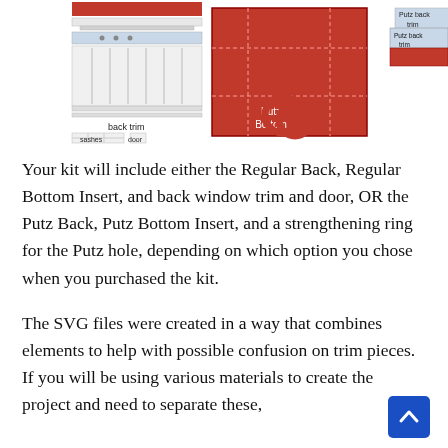[Figure (illustration): Craft kit diagram showing labeled parts: back trim (white architectural piece), sashes, door (white window/door pieces), Putz Bottom (red 3D box), Putz back trim (blue label on red piece), tower roof (gray rectangle), tower inside (gray panels), and a red circular ring (strengthening ring for Putz hole).]
Your kit will include either the Regular Back, Regular Bottom Insert, and back window trim and door, OR the Putz Back, Putz Bottom Insert, and a strengthening ring for the Putz hole, depending on which option you chose when you purchased the kit.
The SVG files were created in a way that combines elements to help with possible confusion on trim pieces. If you will be using various materials to create the project and need to separate these,